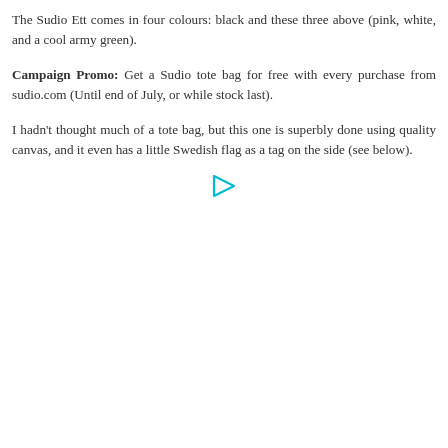The Sudio Ett comes in four colours: black and these three above (pink, white, and a cool army green).
Campaign Promo: Get a Sudio tote bag for free with every purchase from sudio.com (Until end of July, or while stock last).
I hadn't thought much of a tote bag, but this one is superbly done using quality canvas, and it even has a little Swedish flag as a tag on the side (see below).
[Figure (other): Small cyan/teal play-button icon, indicating a video or media element placeholder]